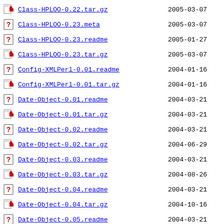Class-HPL00-0.22.tar.gz  2005-03-07
Class-HPL00-0.23.meta  2005-03-07
Class-HPL00-0.23.readme  2005-01-27
Class-HPL00-0.23.tar.gz  2005-03-07
Config-XMLPerl-0.01.readme  2004-01-16
Config-XMLPerl-0.01.tar.gz  2004-01-16
Date-Object-0.01.readme  2004-03-21
Date-Object-0.01.tar.gz  2004-03-21
Date-Object-0.02.readme  2004-03-21
Date-Object-0.02.tar.gz  2004-06-29
Date-Object-0.03.readme  2004-03-21
Date-Object-0.03.tar.gz  2004-08-26
Date-Object-0.04.readme  2004-03-21
Date-Object-0.04.tar.gz  2004-10-16
Date-Object-0.05.readme  2004-03-21
Date-Object-0.05.tar.gz  2005-01-05
Date-Object-0.06.readme  2004-03-21